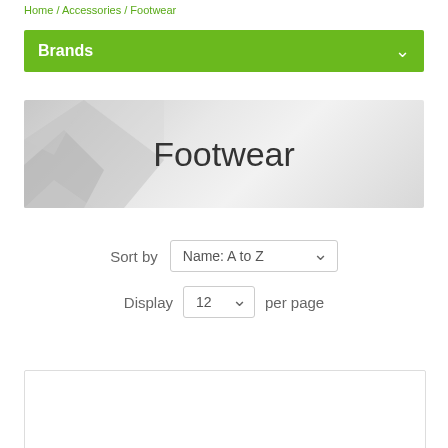Home / Accessories / Footwear
Brands
[Figure (illustration): Footwear category banner with geometric light grey polygonal pattern background and centered text 'Footwear']
Sort by  Name: A to Z
Display  12  per page